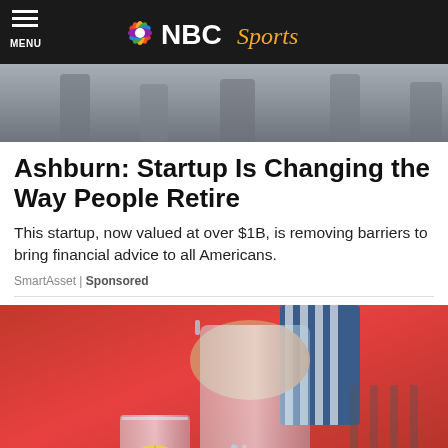MENU | NBC Sports
[Figure (photo): Top photo showing people, partially cropped]
Ashburn: Startup Is Changing the Way People Retire
This startup, now valued at over $1B, is removing barriers to bring financial advice to all Americans.
SmartAsset | Sponsored
[Figure (photo): Person in red sweater pouring water from a glass pitcher into a tall glass with lemon]